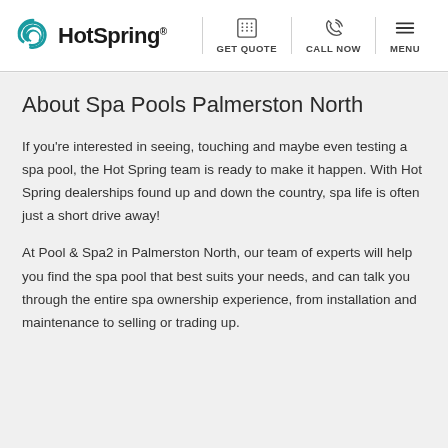HotSpring® — GET QUOTE | CALL NOW | MENU
About Spa Pools Palmerston North
If you're interested in seeing, touching and maybe even testing a spa pool, the Hot Spring team is ready to make it happen. With Hot Spring dealerships found up and down the country, spa life is often just a short drive away!
At Pool & Spa2 in Palmerston North, our team of experts will help you find the spa pool that best suits your needs, and can talk you through the entire spa ownership experience, from installation and maintenance to selling or trading up.